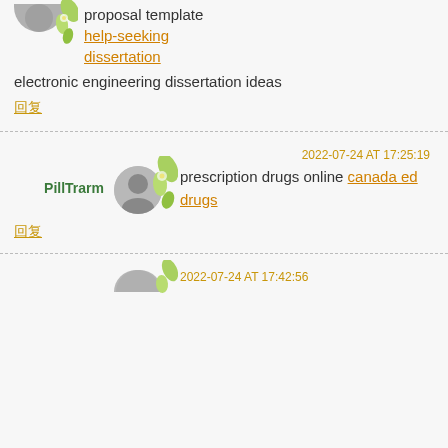proposal template help-seeking dissertation electronic engineering dissertation ideas
回复
2022-07-24 AT 17:25:19
PillTrarm
prescription drugs online canada ed drugs
回复
2022-07-24 AT 17:42:56